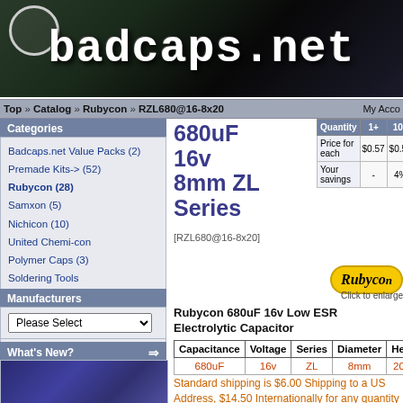[Figure (logo): Badcaps.net website banner with stylized text on dark circuit board background]
Top » Catalog » Rubycon » RZL680@16-8x20    My Acco
Categories
Badcaps.net Value Packs (2)
Premade Kits-> (52)
Rubycon (28)
Samxon (5)
Nichicon (10)
United Chemi-con
Polymer Caps (3)
Soldering Tools
Hardware For Sale-> (1)
Topcat's Kooky Systems For Sale (1)
680uF 16v 8mm ZL Series
[RZL680@16-8x20]
| Quantity | 1+ | 10+ | 20+ | 50+ | 1... |
| --- | --- | --- | --- | --- | --- |
| Price for each | $0.57 | $0.55 | $0.53 | $0.50 | $... |
| Your savings | - | 4% | 7% | 12% | 1... |
[Figure (logo): Rubycon brand logo badge in yellow oval]
Click to enlarge
Rubycon 680uF 16v Low ESR Electrolytic Capacitor
| Capacitance | Voltage | Series | Diameter | Height |
| --- | --- | --- | --- | --- |
| 680uF | 16v | ZL | 8mm | 20mm |
Standard shipping is $6.00 Shipping to a US Address, $14.50 Internationally for any quantity
Manufacturers
Please Select
What's New?
[Figure (photo): Photo of blue electrolytic capacitors]